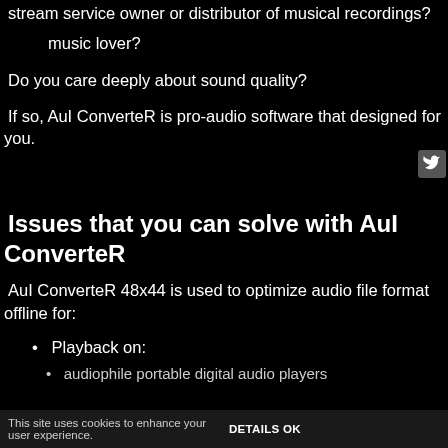stream service owner or distributor of musical recordings?
music lover?
Do you care deeply about sound quality?
If so, AuI ConverteR is pro-audio software that designed for you.
Issues that you can solve with AuI ConverteR
AuI ConverteR 48x44 is used to optimize audio file format offline for:
Playback on:
audiophile portable digital audio players
This site uses cookies to enhance your user experience.   DETAILS OK